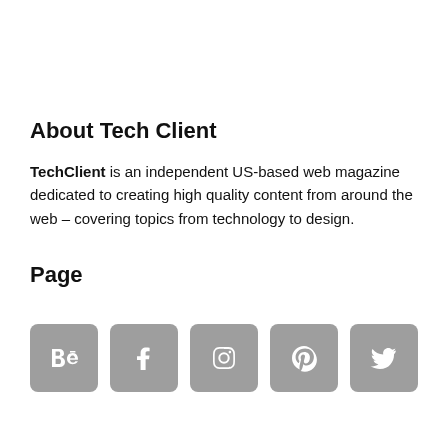About Tech Client
TechClient is an independent US-based web magazine dedicated to creating high quality content from around the web – covering topics from technology to design.
Page
[Figure (other): Row of five social media icon buttons (Behance, Facebook, Instagram, Pinterest, Twitter) rendered as grey rounded-square icons with white logos.]